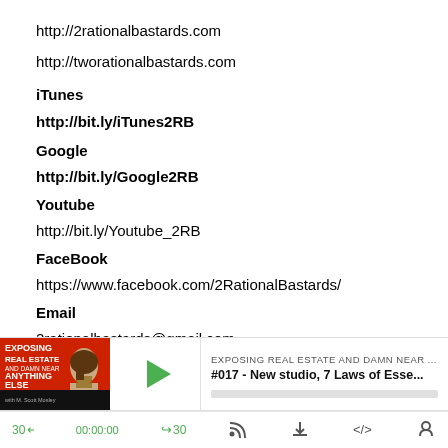http://2rationalbastards.com
http://tworationalbastards.com
iTunes
http://bit.ly/iTunes2RB
Google
http://bit.ly/Google2RB
Youtube
http://bit.ly/Youtube_2RB
FaceBook
https://www.facebook.com/2RationalBastards/
Email
2rationalbastards@gmail.com
[Figure (screenshot): Podcast player widget showing 'Exposing Real Estate and Damn Near Anything Else' with episode '#017 - New studio, 7 Laws of Esse...' and playback controls including 30-second skip, timer 00:00:00, forward 30, share, download, embed, and user icon buttons.]